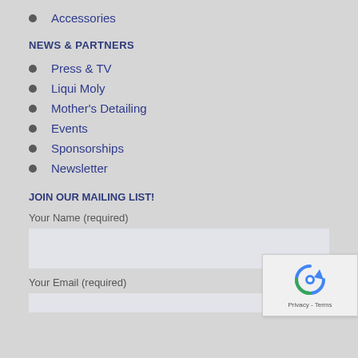Accessories
NEWS & PARTNERS
Press & TV
Liqui Moly
Mother's Detailing
Events
Sponsorships
Newsletter
JOIN OUR MAILING LIST!
Your Name (required)
Your Email (required)